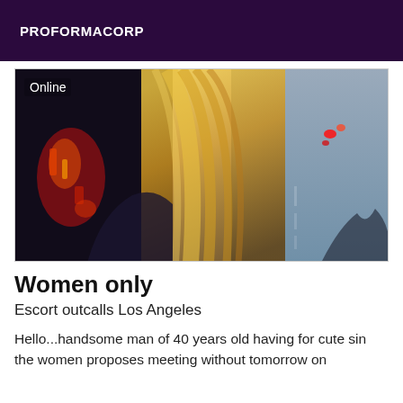PROFORMACORP
[Figure (photo): Blurred motion photo showing a woman's hair and car interior with red lights and road scene at dusk, with an 'Online' label overlay]
Women only
Escort outcalls Los Angeles
Hello...handsome man of 40 years old having for cute sin the women proposes meeting without tomorrow on